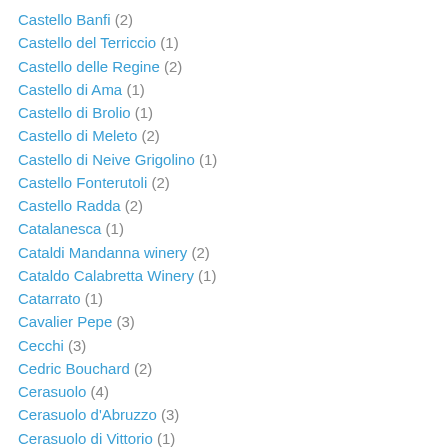Castello Banfi (2)
Castello del Terriccio (1)
Castello delle Regine (2)
Castello di Ama (1)
Castello di Brolio (1)
Castello di Meleto (2)
Castello di Neive Grigolino (1)
Castello Fonterutoli (2)
Castello Radda (2)
Catalanesca (1)
Cataldi Mandanna winery (2)
Cataldo Calabretta Winery (1)
Catarrato (1)
Cavalier Pepe (3)
Cecchi (3)
Cedric Bouchard (2)
Cerasuolo (4)
Cerasuolo d'Abruzzo (3)
Cerasuolo di Vittorio (1)
Cerulli Spinozzi (1)